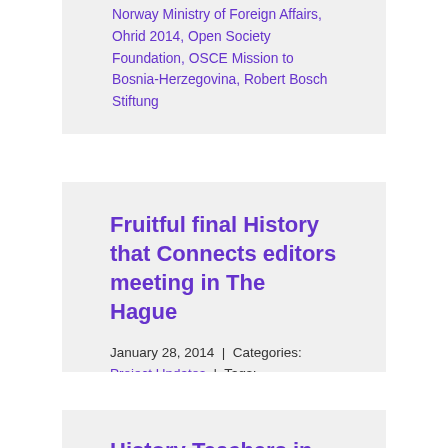Norway Ministry of Foreign Affairs, Ohrid 2014, Open Society Foundation, OSCE Mission to Bosnia-Herzegovina, Robert Bosch Stiftung
Fruitful final History that Connects editors meeting in The Hague
January 28, 2014 | Categories: Project Updates | Tags: Former Yugoslavia, History that Connects the Balkans, Project Meeting
History Teachers in Kosovo and